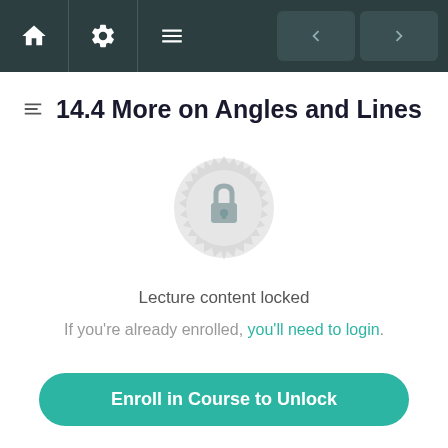Navigation bar with home, settings, menu, back and forward buttons
14.4 More on Angles and Lines
[Figure (illustration): A circular badge/rosette with a padlock icon in the center, indicating locked content. The badge is light gray with a decorative gear-like edge.]
Lecture content locked
If you're already enrolled, you'll need to login.
Enroll in Course to Unlock